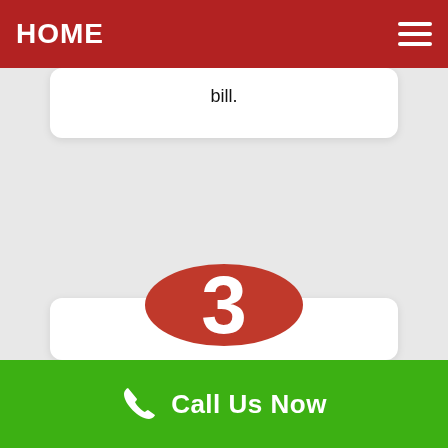HOME
bill.
[Figure (infographic): Red circle with white number 3 inside, representing step 3]
Safety Instruments
Call Us Now